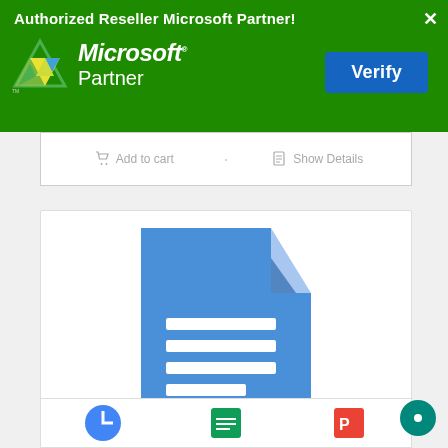[Figure (screenshot): Green Microsoft Partner authorized reseller banner with Microsoft Partner logo on left and a blue Verify button on right, with a close X in top-right corner.]
Add to cart
Show Details
[Figure (logo): Google Docs icon: blue document with folded top-right corner and white horizontal lines in center, with small diamond Google icon at bottom.]
[Figure (logo): Bottom strip showing partial logos of Google Workspace apps.]